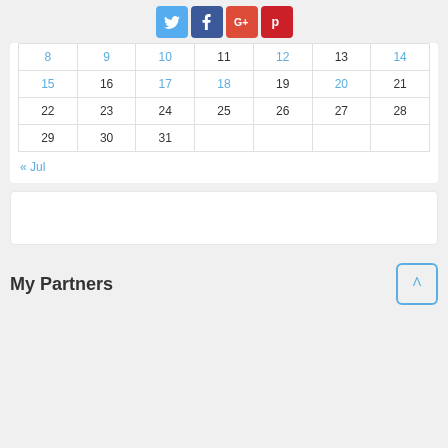[Figure (other): Social media icon buttons: Twitter (blue), Facebook (dark blue), Google+ (red), Pinterest (dark red)]
| 8 | 9 | 10 | 11 | 12 | 13 | 14 |
| 15 | 16 | 17 | 18 | 19 | 20 | 21 |
| 22 | 23 | 24 | 25 | 26 | 27 | 28 |
| 29 | 30 | 31 |  |  |  |  |
« Jul
My Partners